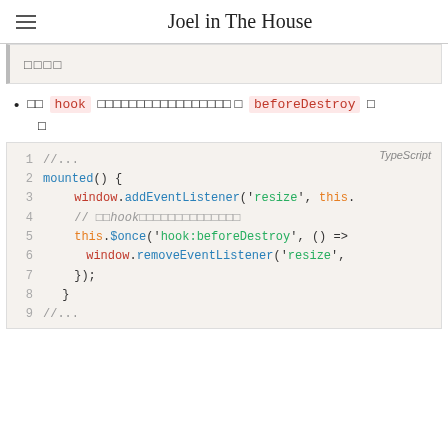Joel in The House
□□□□
□□ hook □□□□□□□□□□□□□□□□□ □ beforeDestroy □ □
[Figure (screenshot): TypeScript code block showing mounted() function with window.addEventListener, this.$once hook:beforeDestroy, and window.removeEventListener calls, lines 1-9]